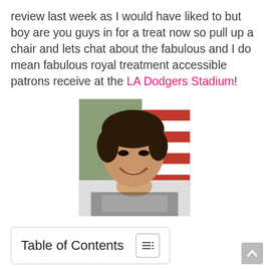review last week as I would have liked to but boy are you guys in for a treat now so pull up a chair and lets chat about the fabulous and I do mean fabulous royal treatment accessible patrons receive at the LA Dodgers Stadium!
[Figure (photo): A smiling woman with short dark hair in front of an American flag, wearing a patterned top.]
Table of Contents